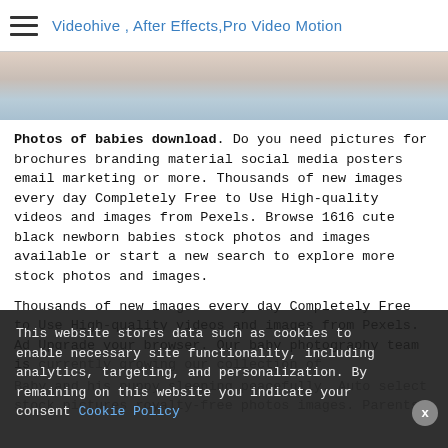Videohive , After Effects,Pro Video Motion
[Figure (photo): Baby photo strip at top of page]
Photos of babies download. Do you need pictures for brochures branding material social media posters email marketing or more. Thousands of new images every day Completely Free to Use High-quality videos and images from Pexels. Browse 1616 cute black newborn babies stock photos and images available or start a new search to explore more stock photos and images.
Thousands of new images every day Completely Free to Use High-quality videos and images from Pexels. Ad Upgrade your browser. Our baby photography team is currently growing our collection of...
Baby and his puppy sleeping peacefully. Auto select stock pictures royalty-free photos images. Parents
This website stores data such as cookies to enable necessary site functionality, including analytics, targeting, and personalization. By remaining on this website you indicate your consent Cookie Policy